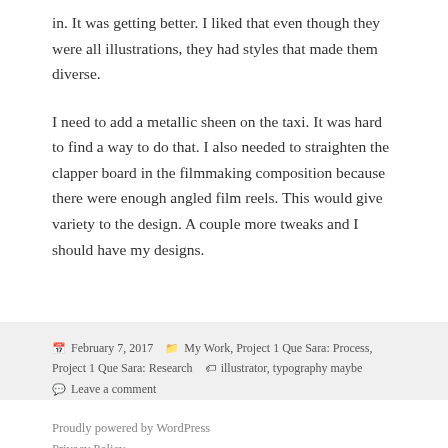in. It was getting better. I liked that even though they were all illustrations, they had styles that made them diverse.
I need to add a metallic sheen on the taxi. It was hard to find a way to do that. I also needed to straighten the clapper board in the filmmaking composition because there were enough angled film reels. This would give variety to the design. A couple more tweaks and I should have my designs.
February 7, 2017   My Work, Project 1 Que Sara: Process, Project 1 Que Sara: Research   illustrator, typography maybe   Leave a comment
Proudly powered by WordPress
Privacy Policy